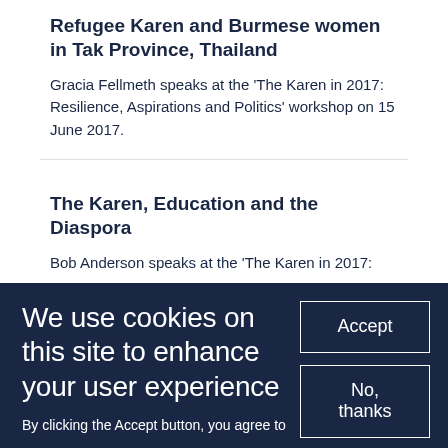Refugee Karen and Burmese women in Tak Province, Thailand
Gracia Fellmeth speaks at the 'The Karen in 2017: Resilience, Aspirations and Politics' workshop on 15 June 2017.
The Karen, Education and the Diaspora
Bob Anderson speaks at the 'The Karen in 2017:
We use cookies on this site to enhance your user experience
By clicking the Accept button, you agree to